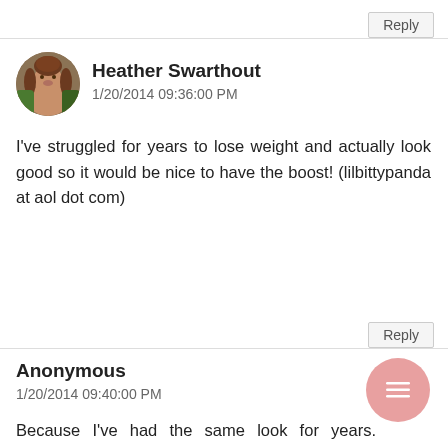Reply
Heather Swarthout
1/20/2014 09:36:00 PM
I've struggled for years to lose weight and actually look good so it would be nice to have the boost! (lilbittypanda at aol dot com)
Reply
Anonymous
1/20/2014 09:40:00 PM
Because I've had the same look for years. Definately time for a change.
Love3570@aol.com